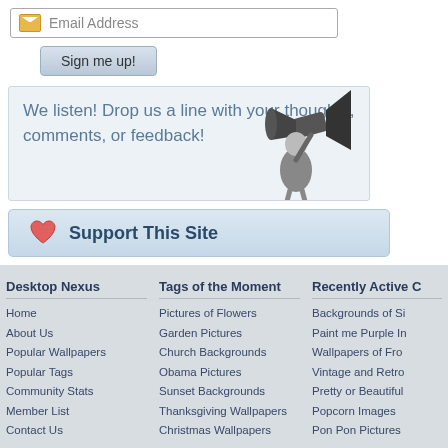[Figure (screenshot): Email address input field with envelope icon]
[Figure (screenshot): Sign me up! button]
We listen! Drop us a line with your thoughts, comments, or feedback!
[Figure (illustration): Black and white illustration of a man speaking into a megaphone]
[Figure (screenshot): Support This Site button with heart icon]
Desktop Nexus
Home
About Us
Popular Wallpapers
Popular Tags
Community Stats
Member List
Contact Us
Tags of the Moment
Pictures of Flowers
Garden Pictures
Church Backgrounds
Obama Pictures
Sunset Backgrounds
Thanksgiving Wallpapers
Christmas Wallpapers
Recently Active C
Backgrounds of Si
Paint me Purple In
Wallpapers of Fro
Vintage and Retro
Pretty or Beautiful
Popcorn Images
Pon Pon Pictures
Privacy Policy 🔒 | Terms of Service | Partnerships | DMCA Copyright Violation
© Desktop Nexus - All rights reserved.
Page rendered with 6 queries (and 0 cached) in 0.105 seconds from server -23.